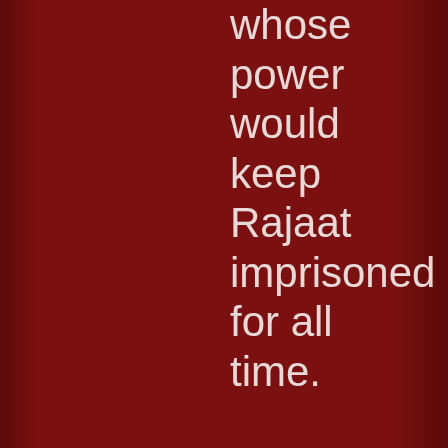whose power would keep Rajaat imprisoned for all time.

Borys's transformation causes him to